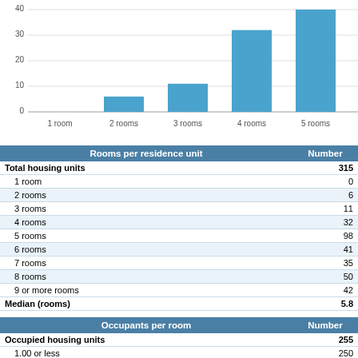[Figure (bar-chart): Rooms per residence unit]
| Rooms per residence unit | Number |
| --- | --- |
| Total housing units | 315 |
| 1 room | 0 |
| 2 rooms | 6 |
| 3 rooms | 11 |
| 4 rooms | 32 |
| 5 rooms | 98 |
| 6 rooms | 41 |
| 7 rooms | 35 |
| 8 rooms | 50 |
| 9 or more rooms | 42 |
| Median (rooms) | 5.8 |
| Occupants per room | Number |
| --- | --- |
| Occupied housing units | 255 |
| 1.00 or less | 250 |
| 1.01 to 1.50 | 1 |
| 1.51 or more | 4 |